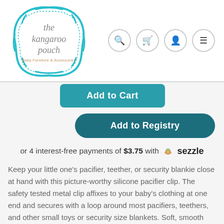[Figure (logo): The Kangaroo Pouch logo - teal decorative frame with text 'the kangaroo pouch' and subtitle 'Baby Furniture & Accessories']
Navigation icons: search, cart, account, menu
Add to Cart
Add to Registry
or 4 interest-free payments of $3.75 with Sezzle
Keep your little one's pacifier, teether, or security blankie close at hand with this picture-worthy silicone pacifier clip. The safety tested metal clip affixes to your baby's clothing at one end and secures with a loop around most pacifiers, teethers, and other small toys or security size blankets. Soft, smooth silicone beads form a tether that is just the right length for baby to be able to bring a pacifier or teether to the mouth. Never lose your little one's important soother when you're out and about. And like all sugar +